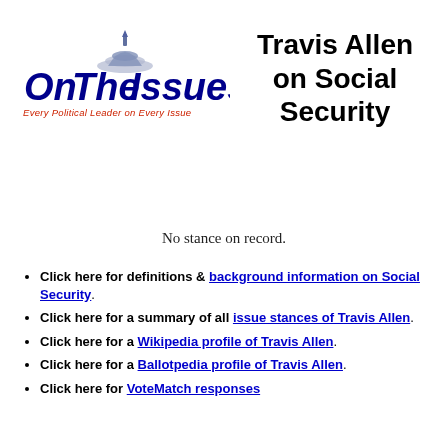[Figure (logo): OnTheIssues logo with dome graphic and tagline 'Every Political Leader on Every Issue']
Travis Allen on Social Security
No stance on record.
Click here for definitions & background information on Social Security.
Click here for a summary of all issue stances of Travis Allen.
Click here for a Wikipedia profile of Travis Allen.
Click here for a Ballotpedia profile of Travis Allen.
Click here for VoteMatch responses